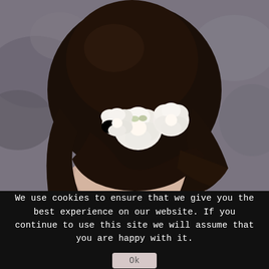[Figure (photo): Back view of a woman with dark wavy hair adorned with white flowers (roses), wearing a strapless dress. Background is blurred gray/brown tones.]
We use cookies to ensure that we give you the best experience on our website. If you continue to use this site we will assume that you are happy with it.
Ok